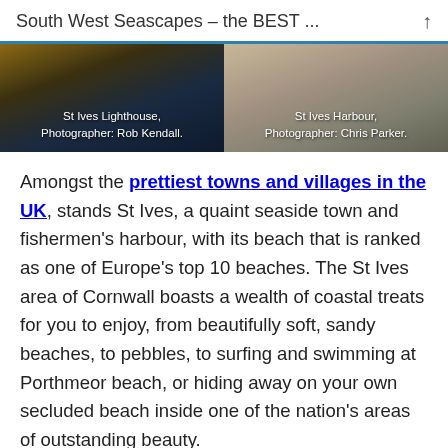South West Seascapes – the BEST ...
[Figure (photo): Two side-by-side photos: left shows St Ives Lighthouse at dusk with orange/dark tones, caption 'St Ives Lighthouse, Photographer: Rob Kendall.'; right shows St Ives Harbour from above with sandy/stone tones, caption 'St Ives Harbour, Photographer: Chris Parker.']
Amongst the prettiest towns and villages in the UK, stands St Ives, a quaint seaside town and fishermen's harbour, with its beach that is ranked as one of Europe's top 10 beaches. The St Ives area of Cornwall boasts a wealth of coastal treats for you to enjoy, from beautifully soft, sandy beaches, to pebbles, to surfing and swimming at Porthmeor beach, or hiding away on your own secluded beach inside one of the nation's areas of outstanding beauty.